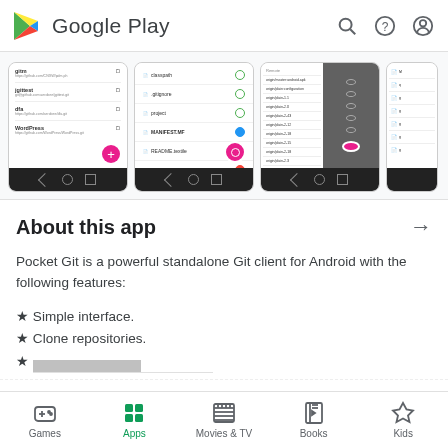Google Play
[Figure (screenshot): Three smartphone screenshots showing Pocket Git app UI: repository list screen, file staging screen, and file browser screen]
About this app →
Pocket Git is a powerful standalone Git client for Android with the following features:
★ Simple interface.
★ Clone repositories.
Games  Apps  Movies & TV  Books  Kids